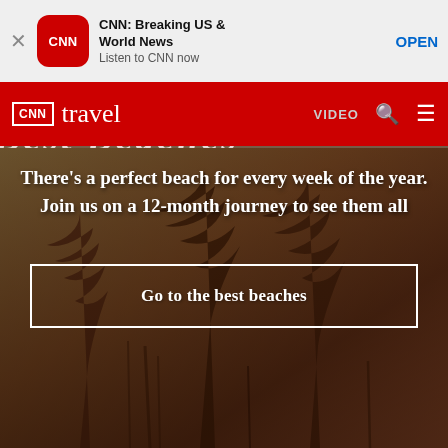[Figure (screenshot): CNN app advertisement banner with red CNN logo icon, text 'CNN: Breaking US & World News / Listen to CNN now', and OPEN button]
CNN travel  VIDEO  🔍  ☰
There's a perfect beach for every week of the year. Join us on a 12-month journey to see them all
Go to the best beaches